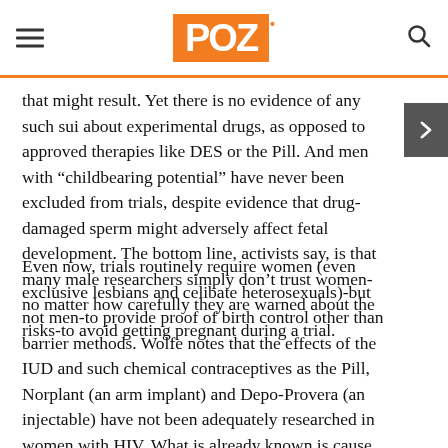POZ
that might result. Yet there is no evidence of any such sui about experimental drugs, as opposed to approved therapies like DES or the Pill. And men with “childbearing potential” have never been excluded from trials, despite evidence that drug-damaged sperm might adversely affect fetal development. The bottom line, activists say, is that many male researchers simply don’t trust women-no matter how carefully they are warned about the risks-to avoid getting pregnant during a trial.
Even now, trials routinely require women (even exclusive lesbians and celibate heterosexuals)-but not men-to provide proof of birth control other than barrier methods. Wolfe notes that the effects of the IUD and such chemical contraceptives as the Pill, Norplant (an arm implant) and Depo-Provera (an injectable) have not been adequately researched in women with HIV. What is already known is cause for serious concern: IUDs work by setting up a low-grade...